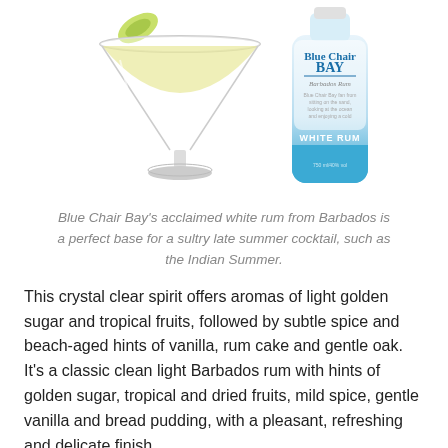[Figure (photo): A martini-style cocktail glass with a lime wedge garnish on the rim (left), and a bottle of Blue Chair Bay White Rum (right). The bottle has a blue-gradient label with the text 'Blue Chair Bay BAY Barbados Rum' and 'WHITE RUM'.]
Blue Chair Bay's acclaimed white rum from Barbados is a perfect base for a sultry late summer cocktail, such as the Indian Summer.
This crystal clear spirit offers aromas of light golden sugar and tropical fruits, followed by subtle spice and beach-aged hints of vanilla, rum cake and gentle oak. It's a classic clean light Barbados rum with hints of golden sugar, tropical and dried fruits, mild spice, gentle vanilla and bread pudding, with a pleasant, refreshing and delicate finish.
When it debuted in 2013, this rum received a score of 90